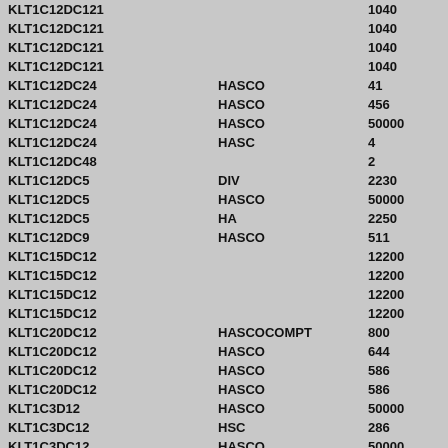| Part | Supplier | Value |
| --- | --- | --- |
| KLT1C12DC121 |  | 1040 |
| KLT1C12DC121 |  | 1040 |
| KLT1C12DC121 |  | 1040 |
| KLT1C12DC121 |  | 1040 |
| KLT1C12DC24 | HASCO | 41 |
| KLT1C12DC24 | HASCO | 456 |
| KLT1C12DC24 | HASCO | 50000 |
| KLT1C12DC24 | HASC | 4 |
| KLT1C12DC48 |  | 2 |
| KLT1C12DC5 | DIV | 2230 |
| KLT1C12DC5 | HASCO | 50000 |
| KLT1C12DC5 | HA | 2250 |
| KLT1C12DC9 | HASCO | 511 |
| KLT1C15DC12 |  | 12200 |
| KLT1C15DC12 |  | 12200 |
| KLT1C15DC12 |  | 12200 |
| KLT1C15DC12 |  | 12200 |
| KLT1C20DC12 | HASCOCOMPT | 800 |
| KLT1C20DC12 | HASCO | 644 |
| KLT1C20DC12 | HASCO | 586 |
| KLT1C20DC12 | HASCO | 586 |
| KLT1C3D12 | HASCO | 50000 |
| KLT1C3DC12 | HSC | 286 |
| KLT1C3DC12 | HASCO | 50000 |
| KLT1C3DC6 | HASCO | 1484 |